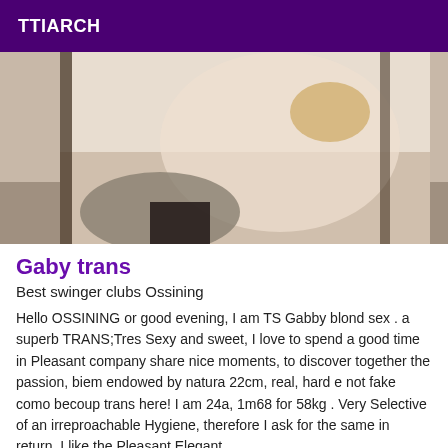TTIARCH
[Figure (photo): Person posing on a bed, wearing black lace top and gold accessories, photographed from behind]
Gaby trans
Best swinger clubs Ossining
Hello OSSINING or good evening, I am TS Gabby blond sex . a superb TRANS;Tres Sexy and sweet, I love to spend a good time in Pleasant company share nice moments, to discover together the passion, biem endowed by natura 22cm, real, hard e not fake como becoup trans here! I am 24a, 1m68 for 58kg . Very Selective of an irreproachable Hygiene, therefore I ask for the same in return. I like the Pleasant Elegant